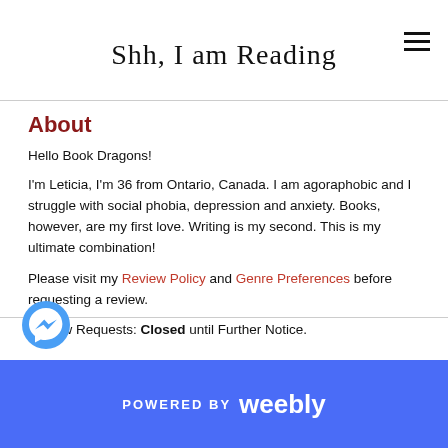Shh, I am Reading
About
Hello Book Dragons!
I'm Leticia, I'm 36 from Ontario, Canada. I am agoraphobic and I struggle with social phobia, depression and anxiety. Books, however, are my first love. Writing is my second. This is my ultimate combination!
Please visit my Review Policy and Genre Preferences before requesting a review.
Review Requests: Closed until Further Notice.
POWERED BY weebly